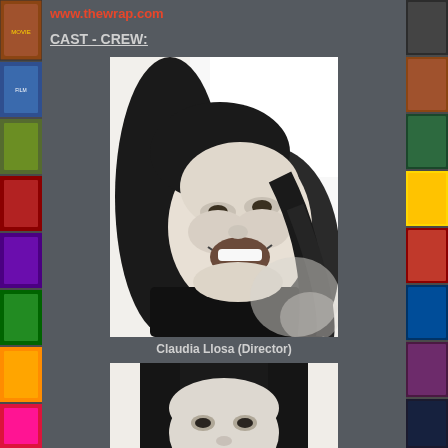www.thewrap.com
CAST - CREW:
[Figure (photo): Black and white photo of Claudia Llosa laughing, with long dark wavy hair]
Claudia Llosa (Director)
[Figure (photo): Partial black and white photo of a second person with dark hair, cropped at bottom of page]